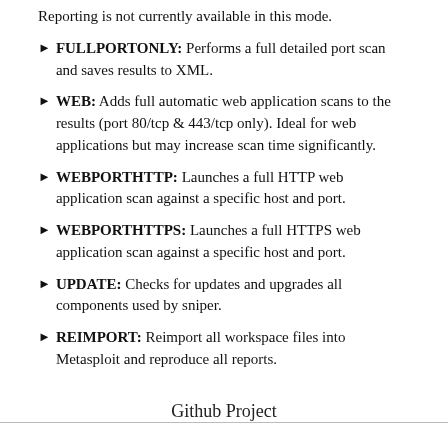Reporting is not currently available in this mode.
FULLPORTONLY: Performs a full detailed port scan and saves results to XML.
WEB: Adds full automatic web application scans to the results (port 80/tcp & 443/tcp only). Ideal for web applications but may increase scan time significantly.
WEBPORTHTTP: Launches a full HTTP web application scan against a specific host and port.
WEBPORTHTTPS: Launches a full HTTPS web application scan against a specific host and port.
UPDATE: Checks for updates and upgrades all components used by sniper.
REIMPORT: Reimport all workspace files into Metasploit and reproduce all reports.
Github Project